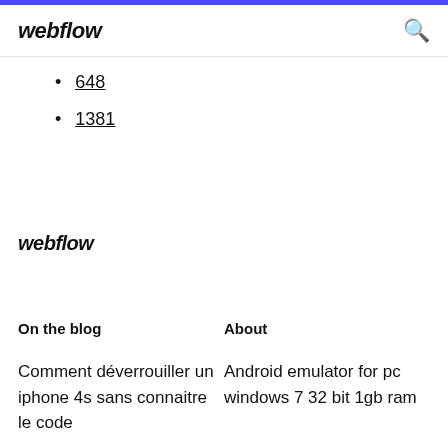webflow
648
1381
webflow
On the blog
About
Comment déverrouiller un iphone 4s sans connaitre le code
Android emulator for pc windows 7 32 bit 1gb ram